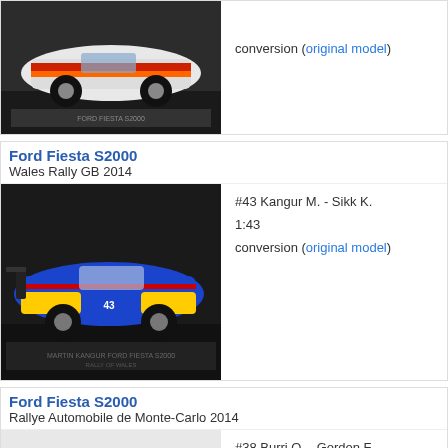[Figure (photo): Photo of a Ford Fiesta S2000 scale model in a display case, white/red/orange livery]
conversion (original model)
Ford Fiesta S2000
Wales Rally GB 2014
[Figure (photo): Photo of a Ford Fiesta S2000 scale model with blue/yellow/red livery, car #43]
#43 Kangur M. - Sikk K.
1:43
conversion (original model)
Ford Fiesta S2000
Rallye Automobile de Monte-Carlo 2014
[Figure (photo): Photo of a Ford Fiesta S2000 scale model with white livery, car #38, top-down angle]
#38 Burri O. - Gordon F.
1:43
conversion (original model)